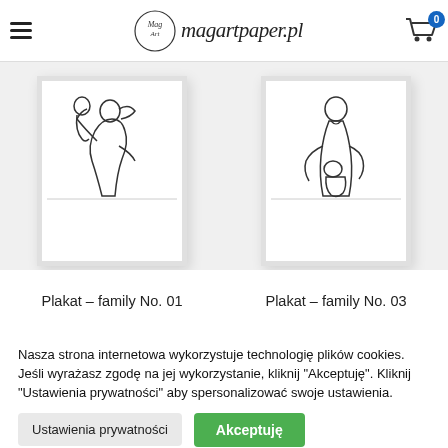magartpaper.pl
[Figure (illustration): Framed line-art illustration of a woman holding a child with arms raised (Plakat – family No. 01)]
[Figure (illustration): Framed line-art illustration of a man holding a baby (Plakat – family No. 03)]
Plakat – family No. 01
Plakat – family No. 03
Nasza strona internetowa wykorzystuje technologię plików cookies. Jeśli wyrażasz zgodę na jej wykorzystanie, kliknij "Akceptuję". Kliknij "Ustawienia prywatności" aby spersonalizować swoje ustawienia.
Ustawienia prywatności
Akceptuję